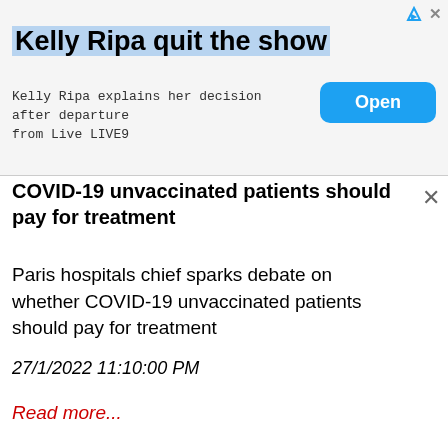[Figure (screenshot): Advertisement banner: 'Kelly Ripa quit the show' with subtitle 'Kelly Ripa explains her decision after departure from Live LIVE9' and a blue 'Open' button]
COVID-19 unvaccinated patients should pay for treatment
Paris hospitals chief sparks debate on whether COVID-19 unvaccinated patients should pay for treatment
27/1/2022 11:10:00 PM
Read more...